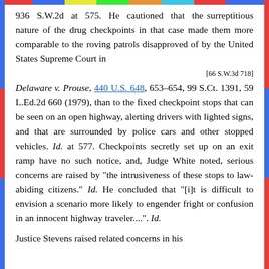936 S.W.2d at 575. He cautioned that the surreptitious nature of the drug checkpoints in that case made them more comparable to the roving patrols disapproved of by the United States Supreme Court in
[66 S.W.3d 718]
Delaware v. Prouse, 440 U.S. 648, 653-654, 99 S.Ct. 1391, 59 L.Ed.2d 660 (1979), than to the fixed checkpoint stops that can be seen on an open highway, alerting drivers with lighted signs, and that are surrounded by police cars and other stopped vehicles. Id. at 577. Checkpoints secretly set up on an exit ramp have no such notice, and, Judge White noted, serious concerns are raised by "the intrusiveness of these stops to law-abiding citizens." Id. He concluded that "[i]t is difficult to envision a scenario more likely to engender fright or confusion in an innocent highway traveler....". Id.
Justice Stevens raised related concerns in his